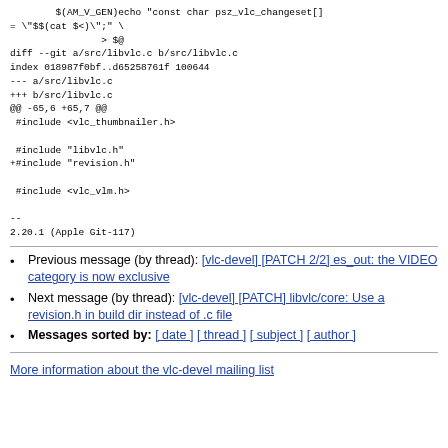$(AM_V_GEN)echo "const char psz_vlc_changeset[] = \"$$(cat $<)\";"\
                > $@
diff --git a/src/libvlc.c b/src/libvlc.c
index 018987f0bf..d65258761f 100644
--- a/src/libvlc.c
+++ b/src/libvlc.c
@@ -65,6 +65,7 @@
 #include <vlc_thumbnailer.h>

 #include "libvlc.h"
+#include "revision.h"

 #include <vlc_vlm.h>

--
2.20.1 (Apple Git-117)
Previous message (by thread): [vlc-devel] [PATCH 2/2] es_out: the VIDEO category is now exclusive
Next message (by thread): [vlc-devel] [PATCH] libvlc/core: Use a revision.h in build dir instead of .c file
Messages sorted by: [ date ] [ thread ] [ subject ] [ author ]
More information about the vlc-devel mailing list